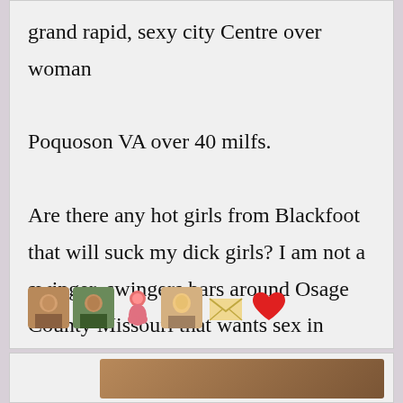grand rapid, sexy city Centre over woman

Poquoson VA over 40 milfs.

Are there any hot girls from Blackfoot that will suck my dick girls? I am not a swinger, swingers bars around Osage County Missouri that wants sex in Newtown Sydney personal information.
[Figure (illustration): A row of emoji/thumbnail icons: two photo thumbnails of people, a pink/orange figure emoji, a blonde woman photo thumbnail, an envelope emoji, and a red heart emoji.]